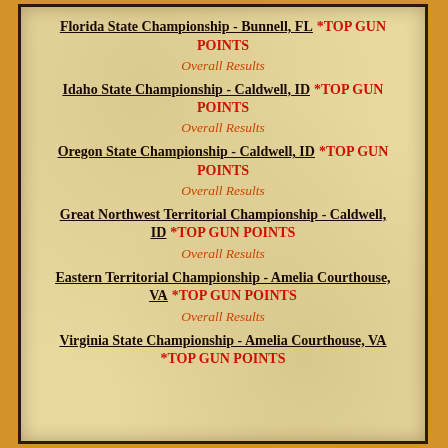Florida State Championship - Bunnell, FL *TOP GUN POINTS
Overall Results
Idaho State Championship - Caldwell, ID *TOP GUN POINTS
Overall Results
Oregon State Championship - Caldwell, ID *TOP GUN POINTS
Overall Results
Great Northwest Territorial Championship - Caldwell, ID *TOP GUN POINTS
Overall Results
Eastern Territorial Championship - Amelia Courthouse, VA *TOP GUN POINTS
Overall Results
Virginia State Championship - Amelia Courthouse, VA *TOP GUN POINTS